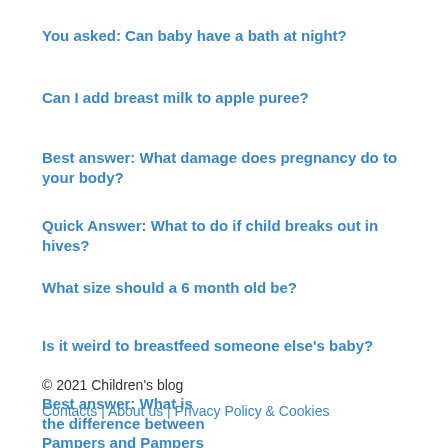You asked: Can baby have a bath at night?
Can I add breast milk to apple puree?
Best answer: What damage does pregnancy do to your body?
Quick Answer: What to do if child breaks out in hives?
What size should a 6 month old be?
Is it weird to breastfeed someone else's baby?
Best answer: What is the difference between Pampers and Pampers Premium?
© 2021 Children's blog
Contacts | About us | Privacy Policy & Cookies